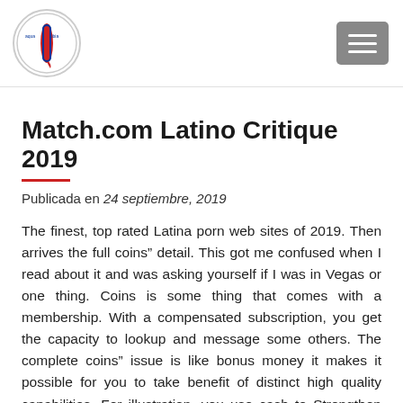[Figure (logo): Aqua Tibia surf school circular logo with a red surfboard]
Match.com Latino Critique 2019
Publicada en 24 septiembre, 2019
The finest, top rated Latina porn web sites of 2019. Then arrives the full coins” detail. This got me confused when I read about it and was asking yourself if I was in Vegas or one thing. Coins is some thing that comes with a membership. With a compensated subscription, you get the capacity to lookup and message some others. The complete coins” issue is like bonus money it makes it possible for you to take benefit of distinct high quality capabilities. For illustration, you use cash to Strengthen on your own (would make you stand out), unlock someone’s profile in the carousel, give virtual items to others and get confirmations when someone opens up